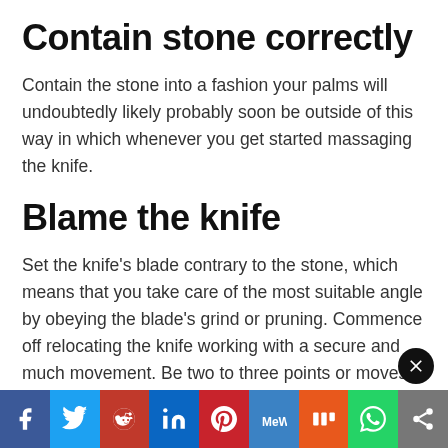Contain stone correctly
Contain the stone into a fashion your palms will undoubtedly likely probably soon be outside of this way in which whenever you get started massaging the knife.
Blame the knife
Set the knife’s blade contrary to the stone, which means that you take care of the most suitable angle by obeying the blade’s grind or pruning. Commence off relocating the knife working with a secure and much movement. Be two to three points or moves on either facet of the knife blade.
[Figure (infographic): Social share bar with icons: Facebook, Twitter, Reddit, LinkedIn, Pinterest, MeWe, Mix, WhatsApp, Share]